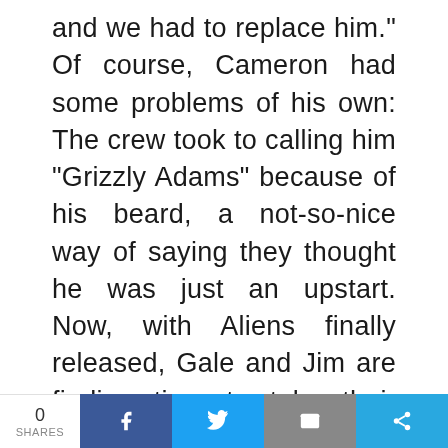and we had to replace him." Of course, Cameron had some problems of his own: The crew took to calling him "Grizzly Adams" because of his beard, a not-so-nice way of saying they thought he was just an upstart. Now, with Aliens finally released, Gale and Jim are finding time to take their first short vacations between promotional tours for the movie. Their newfound passion is scuba diving, which Cameron mastered while filming Piranha II in the Cayman Islands and which Hurd just recently took up. She works out daily with
0 SHARES | Facebook | Twitter | Email | Share